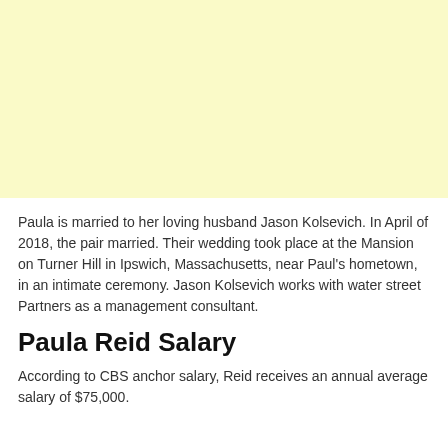[Figure (other): Light yellow/cream colored rectangular advertisement or placeholder block]
Paula is married to her loving husband Jason Kolsevich. In April of 2018, the pair married. Their wedding took place at the Mansion on Turner Hill in Ipswich, Massachusetts, near Paul's hometown, in an intimate ceremony. Jason Kolsevich works with water street Partners as a management consultant.
Paula Reid Salary
According to CBS anchor salary, Reid receives an annual average salary of $75,000.